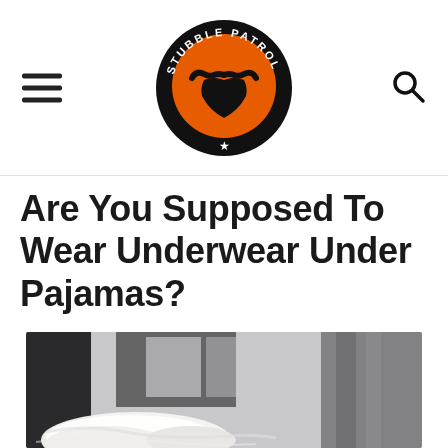[Figure (logo): Stubble Patrol circular logo with orange background featuring a mustache and beard silhouette, surrounded by black ring with 'STUBBLE PATROL' text and a star at the bottom]
Are You Supposed To Wear Underwear Under Pajamas?
[Figure (photo): Blurred bedroom scene with white pillows/bedding in foreground and dark curtains/window in background, black and white tones]